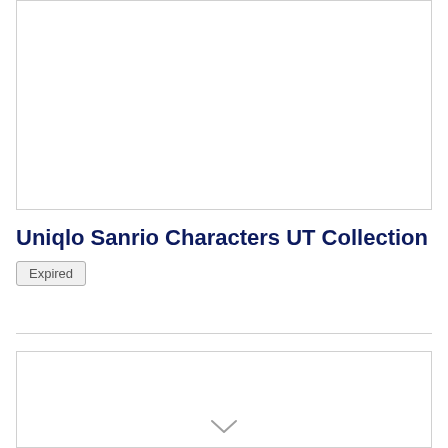[Figure (other): Top image placeholder box with border]
Uniqlo Sanrio Characters UT Collection
Expired
[Figure (other): Bottom image placeholder box with border and chevron/arrow icon at bottom center]